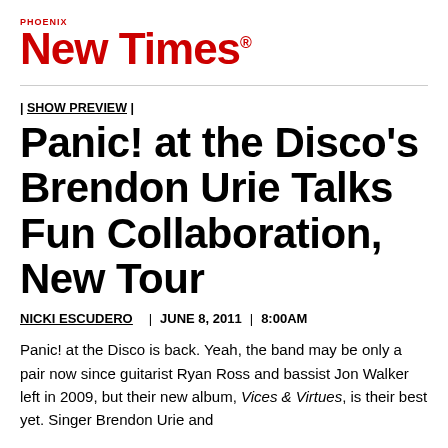Phoenix New Times
| SHOW PREVIEW |
Panic! at the Disco's Brendon Urie Talks Fun Collaboration, New Tour
NICKI ESCUDERO | JUNE 8, 2011 | 8:00AM
Panic! at the Disco is back. Yeah, the band may be only a pair now since guitarist Ryan Ross and bassist Jon Walker left in 2009, but their new album, Vices & Virtues, is their best yet. Singer Brendon Urie and